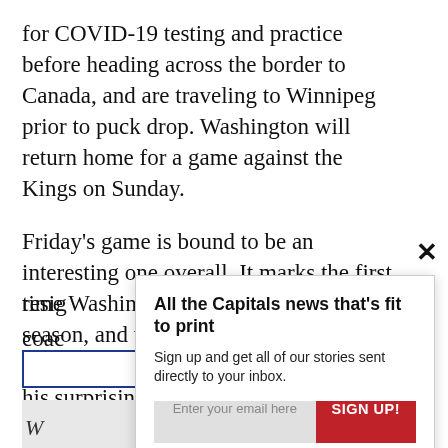for COVID-19 testing and practice before heading across the border to Canada, and are traveling to Winnipeg prior to puck drop. Washington will return home for a game against the Kings on Sunday.
Friday's game is bound to be an interesting one overall. It marks the first time Washington is facing Winnipeg this season, and the first game the Jets are playing since Paul Maurice announced his surprising resig[nation...] coac[h...] coac[h...]
[Figure (screenshot): Email newsletter signup modal overlay with title 'All the Capitals news that's fit to print', description text, email input field, SIGN UP! button, and privacy notice. A close X button appears at top right of modal.]